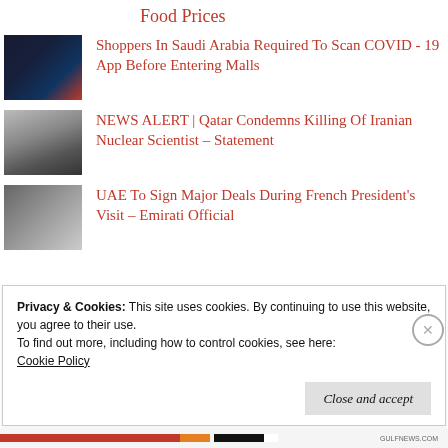Food Prices
[Figure (photo): Nighttime city skyline photo with reddish tones]
Shoppers In Saudi Arabia Required To Scan COVID - 19 App Before Entering Malls
[Figure (photo): Person at a meeting table, Qatar nameplate visible]
NEWS ALERT | Qatar Condemns Killing Of Iranian Nuclear Scientist – Statement
[Figure (photo): Person in dark suit, grayscale photo]
UAE To Sign Major Deals During French President's Visit – Emirati Official
Privacy & Cookies: This site uses cookies. By continuing to use this website, you agree to their use.
To find out more, including how to control cookies, see here: Cookie Policy
Close and accept